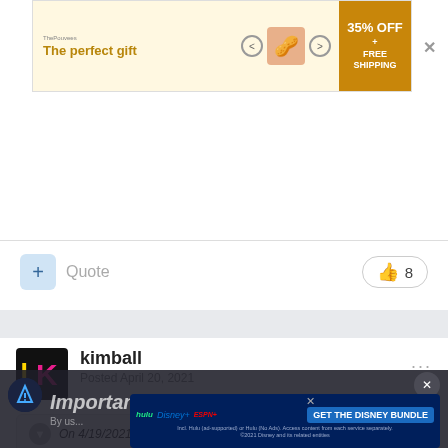[Figure (screenshot): Advertisement banner: 'The perfect gift' with product images, 35% OFF + FREE SHIPPING promo box]
Quote
8
kimball
Posted April 20, 2021
On 4/19/2021 at 10:32 PM, projectjohn said:
Important Information
Report an ad
[Figure (screenshot): Disney Bundle advertisement: hulu, Disney+, ESPN+ logos with 'GET THE DISNEY BUNDLE' CTA and fine print about Hulu plans and ©2021 Disney]